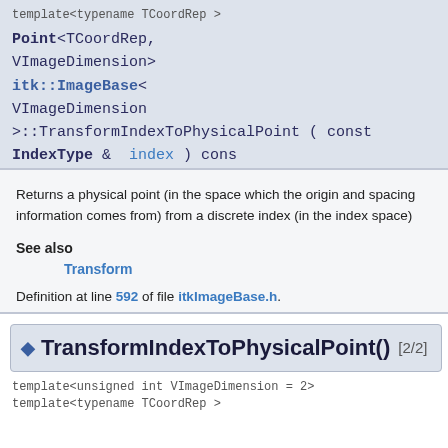template<typename TCoordRep >
Point<TCoordRep, VImageDimension> itk::ImageBase< VImageDimension >::TransformIndexToPhysicalPoint ( const IndexType &  index ) cons
Returns a physical point (in the space which the origin and spacing information comes from) from a discrete index (in the index space)
See also
Transform
Definition at line 592 of file itkImageBase.h.
TransformIndexToPhysicalPoint() [2/2]
template<unsigned int VImageDimension = 2>
template<typename TCoordRep >